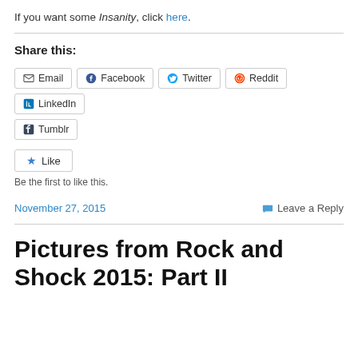If you want some Insanity, click here.
Share this:
Email | Facebook | Twitter | Reddit | LinkedIn | Tumblr
Like
Be the first to like this.
November 27, 2015    Leave a Reply
Pictures from Rock and Shock 2015: Part II